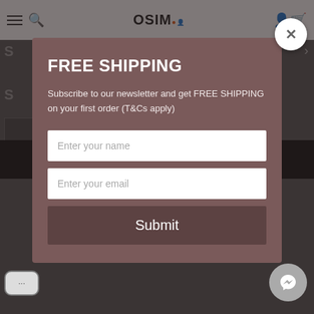[Figure (screenshot): OSIM website navigation bar with hamburger menu, search icon, OSIM logo, user icon, and cart icon]
FREE SHIPPING
Subscribe to our newsletter and get FREE SHIPPING on your first order (T&Cs apply)
Enter your name
Enter your email
Submit